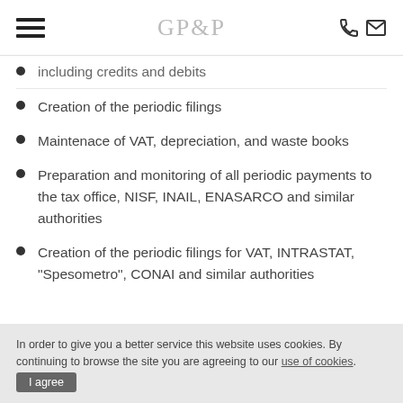GPP
including credits and debits
Creation of the periodic filings
Maintenace of VAT, depreciation, and waste books
Preparation and monitoring of all periodic payments to the tax office, NISF, INAIL, ENASARCO and similar authorities
Creation of the periodic filings for VAT, INTRASTAT, "Spesometro", CONAI and similar authorities
In order to give you a better service this website uses cookies. By continuing to browse the site you are agreeing to our use of cookies. I agree